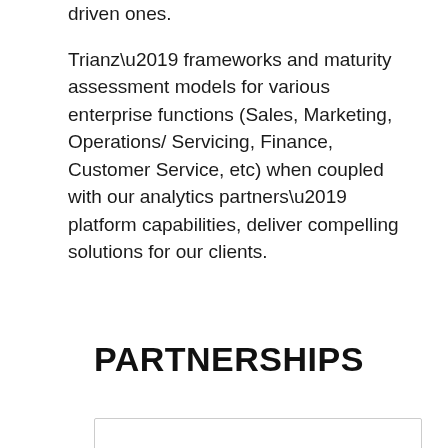driven ones.
Trianz’ frameworks and maturity assessment models for various enterprise functions (Sales, Marketing, Operations/ Servicing, Finance, Customer Service, etc) when coupled with our analytics partners’ platform capabilities, deliver compelling solutions for our clients.
PARTNERSHIPS
[Figure (other): Partial box or card element visible at the bottom of the page]